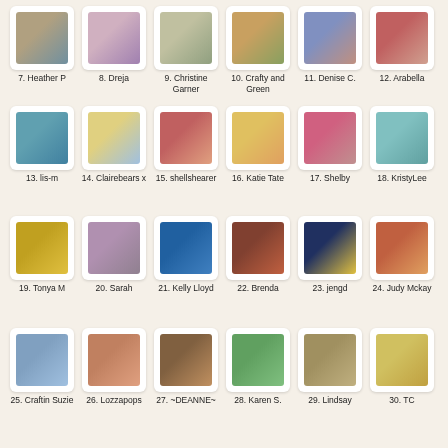[Figure (other): Grid of thumbnail images with numbered labels, rows 7-12]
7. Heather P
8. Dreja
9. Christine Garner
10. Crafty and Green
11. Denise C.
12. Arabella
[Figure (other): Grid of thumbnail images with numbered labels, rows 13-18]
13. lis-m
14. Clairebears x
15. shellshearer
16. Katie Tate
17. Shelby
18. KristyLee
[Figure (other): Grid of thumbnail images with numbered labels, rows 19-24]
19. Tonya M
20. Sarah
21. Kelly Lloyd
22. Brenda
23. jengd
24. Judy Mckay
[Figure (other): Grid of thumbnail images with numbered labels, rows 25-30]
25. Craftin Suzie
26. Lozzapops
27. ~DEANNE~
28. Karen S.
29. Lindsay
30. TC